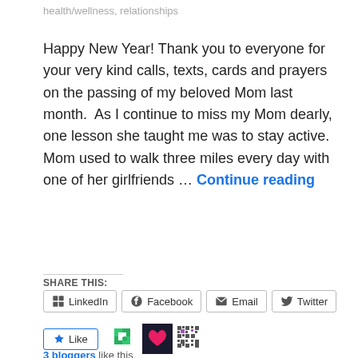health/wellness, relationships
Happy New Year! Thank you to everyone for your very kind calls, texts, cards and prayers on the passing of my beloved Mom last month.  As I continue to miss my Mom dearly, one lesson she taught me was to stay active.  Mom used to walk three miles every day with one of her girlfriends … Continue reading
SHARE THIS:
LinkedIn
Facebook
Email
Twitter
3 bloggers like this.
1 comment